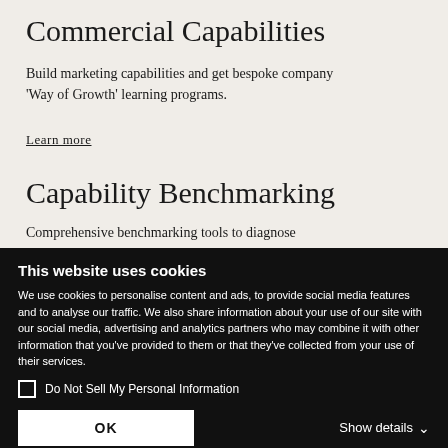Commercial Capabilities
Build marketing capabilities and get bespoke company 'Way of Growth' learning programs.
Learn more
Capability Benchmarking
Comprehensive benchmarking tools to diagnose
This website uses cookies
We use cookies to personalise content and ads, to provide social media features and to analyse our traffic. We also share information about your use of our site with our social media, advertising and analytics partners who may combine it with other information that you've provided to them or that they've collected from your use of their services.
Do Not Sell My Personal Information
OK
Show details